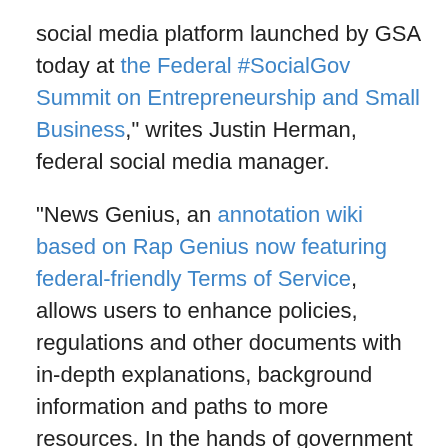social media platform launched by GSA today at the Federal #SocialGov Summit on Entrepreneurship and Small Business," writes Justin Herman, federal social media manager.
"News Genius, an annotation wiki based on Rap Genius now featuring federal-friendly Terms of Service, allows users to enhance policies, regulations and other documents with in-depth explanations, background information and paths to more resources. In the hands of government managers it will improve public services through citizen feedback and plain language, and will reduce costs by delivering these benefits on a free platform that doesn’t require a contract."
This could be a significant improvement in making complicated policy documents and regulations